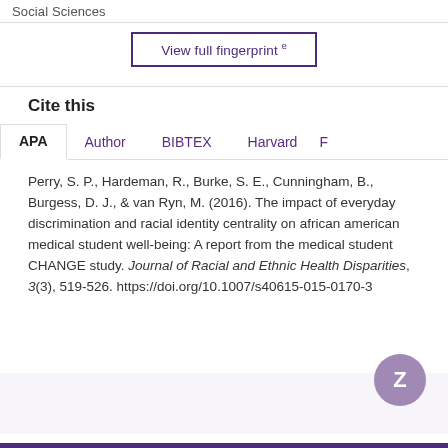Social Sciences
View full fingerprint
Cite this
APA  Author  BIBTEX  Harvard  F
Perry, S. P., Hardeman, R., Burke, S. E., Cunningham, B., Burgess, D. J., & van Ryn, M. (2016). The impact of everyday discrimination and racial identity centrality on african american medical student well-being: A report from the medical student CHANGE study. Journal of Racial and Ethnic Health Disparities, 3(3), 519-526. https://doi.org/10.1007/s40615-015-0170-3